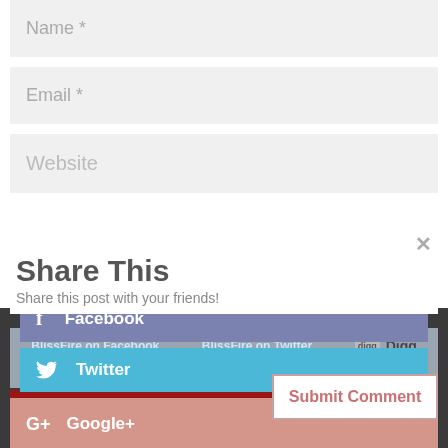Name *
Email *
Website
Share This
Share this post with your friends!
Submit Comment
Facebook
Twitter
Google+
Digg
Pinterest
BlissFire on Facebook
BlissFire on Twitter
BlissFire on Pinterest
BlissFire on LinkedIn
BlissFire on CrunchBase